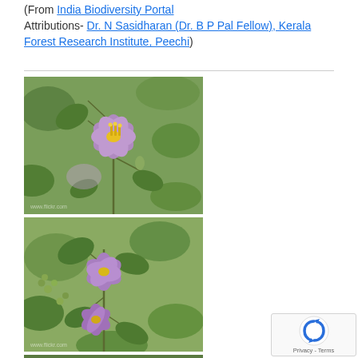(From India Biodiversity Portal
Attributions- Dr. N Sasidharan (Dr. B P Pal Fellow), Kerala Forest Research Institute, Peechi)
[Figure (photo): Close-up photograph of a purple flower with yellow stamens on a plant with green leaves and stems, from India Biodiversity Portal]
[Figure (photo): Photograph of the same plant showing purple flowers and green foliage, slightly wider view]
[Figure (photo): Partial photograph of plant with green leaves at bottom of page]